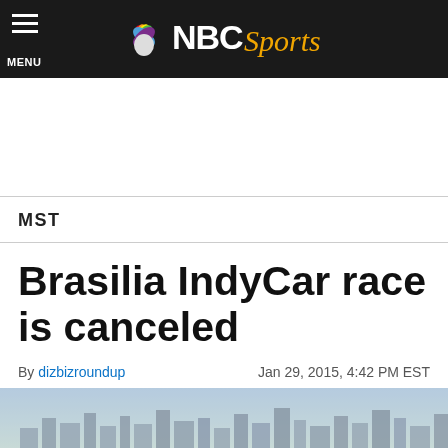NBC Sports
MST
Brasilia IndyCar race is canceled
By dizbizroundup   Jan 29, 2015, 4:42 PM EST
[Figure (photo): City skyline photograph of Brasilia showing buildings and hazy sky]